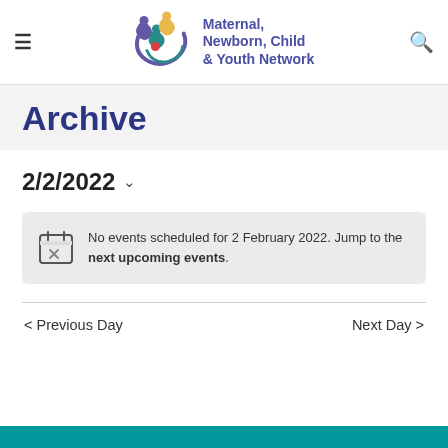Maternal, Newborn, Child & Youth Network
Archive
2/2/2022
No events scheduled for 2 February 2022. Jump to the next upcoming events.
< Previous Day   Next Day >